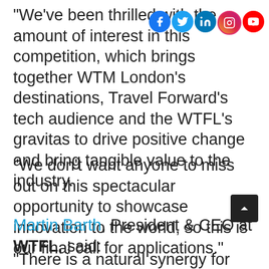“We’ve been thrilled with the amount of interest in this competition, which brings together WTM London’s destinations, Travel Forward’s tech audience and the WTFL’s gravitas to drive positive change and bring tangible value to the industry.
“We don’t want anyone to miss out on this spectacular opportunity to showcase innovation to the world, so this is our final call for applications.”
Martin Barth, President & CEO at WTFL, said:
“There is a natural synergy for innovative